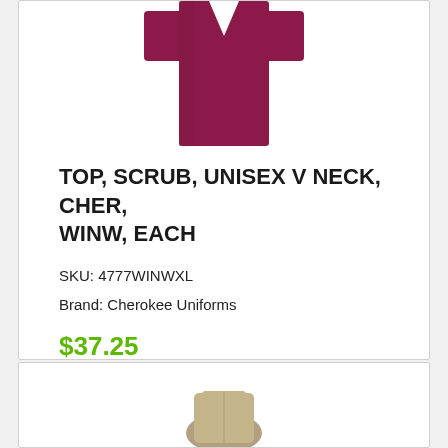[Figure (photo): Partial view of a dark wine/magenta colored scrub top on white background, cropped at top]
TOP, SCRUB, UNISEX V NECK, CHER, WINW, EACH
SKU: 4777WINWXL
Brand: Cherokee Uniforms
$37.25
[Figure (photo): Partial view of a second product image, appearing at bottom of page, cropped]